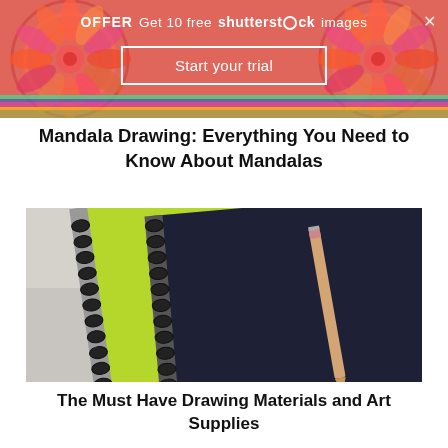[Figure (infographic): Shutterstock advertisement banner with colorful mandala pattern background in pink/orange/red tones, white text offering 10 free images and a 'Start your trial' button]
Mandala Drawing: Everything You Need to Know About Mandalas
[Figure (photo): Photo of two spiral-bound notebooks (one lime green, one dark navy/black) with a wooden pencil resting against the dark notebook, on a light gray background]
The Must Have Drawing Materials and Art Supplies